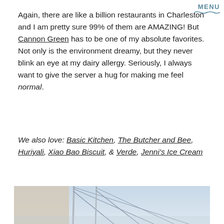MENU
Again, there are like a billion restaurants in Charleston and I am pretty sure 99% of them are AMAZING! But Cannon Green has to be one of my absolute favorites. Not only is the environment dreamy, but they never blink an eye at my dairy allergy. Seriously, I always want to give the server a hug for making me feel normal.
We also love: Basic Kitchen, The Butcher and Bee, Huriyali, Xiao Bao Biscuit, & Verde, Jenni's Ice Cream
[Figure (photo): Photo of sailboat masts against a pale blue sky, showing diagonal lines of rigging and mast structures]